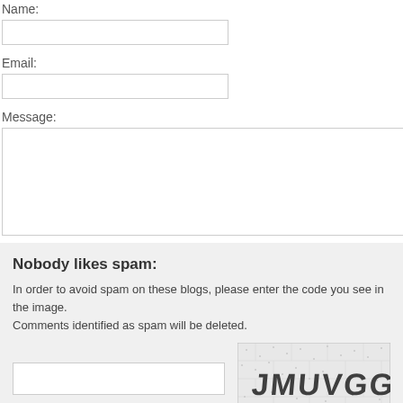Name:
Email:
Message:
Nobody likes spam:
In order to avoid spam on these blogs, please enter the code you see in the image.
Comments identified as spam will be deleted.
[Figure (other): CAPTCHA image showing distorted text 'JMUVGG4' on a dotted/brick background]
+ Add your comment!